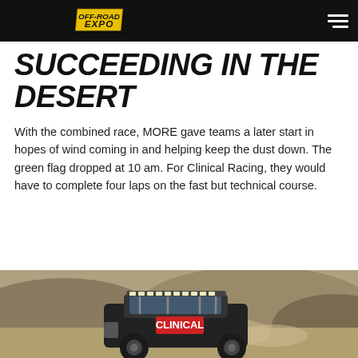OFF-ROAD EXPO
SUCCEEDING IN THE DESERT
With the combined race, MORE gave teams a later start in hopes of wind coming in and helping keep the dust down. The green flag dropped at 10 am. For Clinical Racing, they would have to complete four laps on the fast but technical course.
[Figure (photo): An off-road race truck driving on a dusty desert course with hills in the background]